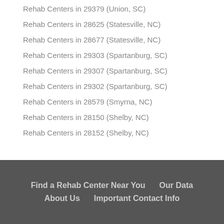Rehab Centers in 29379 (Union, SC)
Rehab Centers in 28625 (Statesville, NC)
Rehab Centers in 28677 (Statesville, NC)
Rehab Centers in 29303 (Spartanburg, SC)
Rehab Centers in 29307 (Spartanburg, SC)
Rehab Centers in 29302 (Spartanburg, SC)
Rehab Centers in 28579 (Smyrna, NC)
Rehab Centers in 28150 (Shelby, NC)
Rehab Centers in 28152 (Shelby, NC)
Find a Rehab Center Near You   Our Data   About Us   Important Contact Info